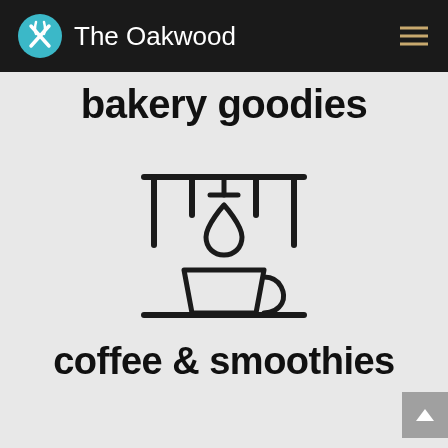The Oakwood
bakery goodies
[Figure (illustration): Line art icon of a pour-over coffee drip setup with a coffee cup below a water drop, flanked by vertical bars and a horizontal bar at top and bottom]
coffee & smoothies